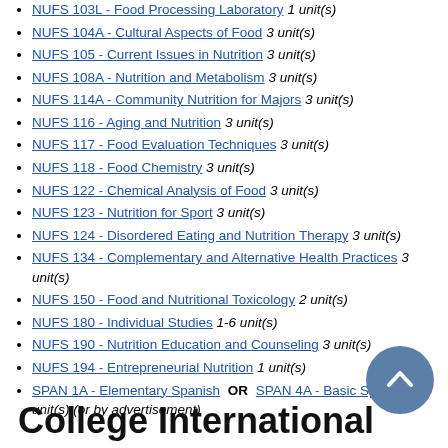NUFS 103L - Food Processing Laboratory 1 unit(s)
NUFS 104A - Cultural Aspects of Food 3 unit(s)
NUFS 105 - Current Issues in Nutrition 3 unit(s)
NUFS 108A - Nutrition and Metabolism 3 unit(s)
NUFS 114A - Community Nutrition for Majors 3 unit(s)
NUFS 116 - Aging and Nutrition 3 unit(s)
NUFS 117 - Food Evaluation Techniques 3 unit(s)
NUFS 118 - Food Chemistry 3 unit(s)
NUFS 122 - Chemical Analysis of Food 3 unit(s)
NUFS 123 - Nutrition for Sport 3 unit(s)
NUFS 124 - Disordered Eating and Nutrition Therapy 3 unit(s)
NUFS 134 - Complementary and Alternative Health Practices 3 unit(s)
NUFS 150 - Food and Nutritional Toxicology 2 unit(s)
NUFS 180 - Individual Studies 1-6 unit(s)
NUFS 190 - Nutrition Education and Counseling 3 unit(s)
NUFS 194 - Entrepreneurial Nutrition 1 unit(s)
SPAN 1A - Elementary Spanish OR SPAN 4A - Basic Spanish I 4 unit(s) (or by advertisement)
College International